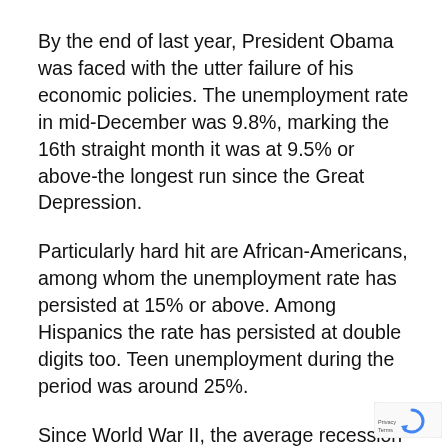By the end of last year, President Obama was faced with the utter failure of his economic policies. The unemployment rate in mid-December was 9.8%, marking the 16th straight month it was at 9.5% or above-the longest run since the Great Depression.
Particularly hard hit are African-Americans, among whom the unemployment rate has persisted at 15% or above. Among Hispanics the rate has persisted at double digits too. Teen unemployment during the period was around 25%.
Since World War II, the average recession has been 10 months in duration, with the following recovery stronger the deeper the recession. Based on this record, the U.S. economy should have been in its second year of booming growth by December 2010. Instead, an all-time record 44 million were struggling in poverty-one in seven Americans-with over 40